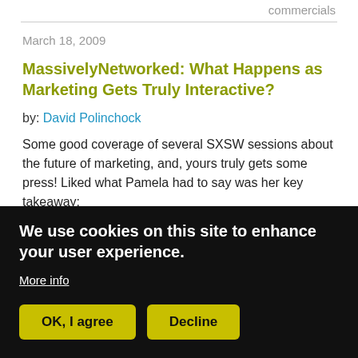commercials
March 18, 2009
MassivelyNetworked: What Happens as Marketing Gets Truly Interactive?
by: David Polinchock
Some good coverage of several SXSW sessions about the future of marketing, and, yours truly gets some press! Liked what Pamela had to say was her key takeaway:
We use cookies on this site to enhance your user experience.
More info
OK, I agree
Decline